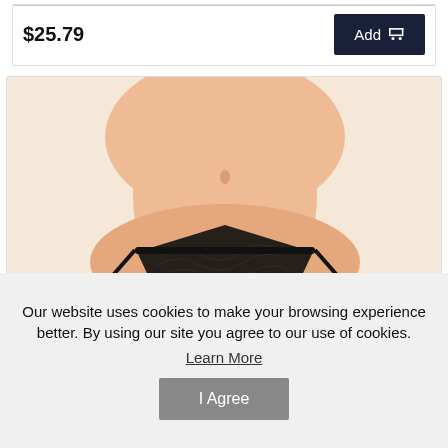$25.79
Add
[Figure (photo): Product photo of a black lace thong/g-string lingerie displayed on a mannequin torso showing the waist and hip area]
Our website uses cookies to make your browsing experience better. By using our site you agree to our use of cookies.
Learn More
I Agree